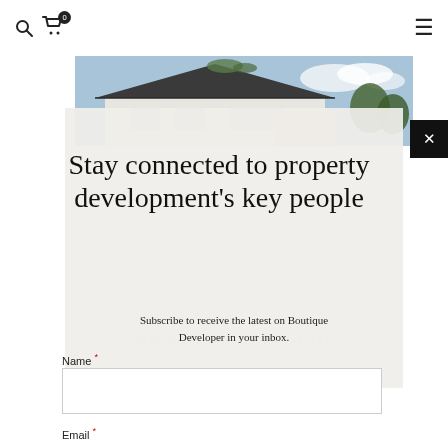Navigation bar with search icon, cart (0), and hamburger menu
[Figure (photo): Modern house exterior with dark roof, large windows, and blue sky background]
Stay connected to property development's key people
Subscribe to receive the latest on Boutique Developer in your inbox.
ARCHITECTURE, BUILDING, EASTERN
Name *
Email *